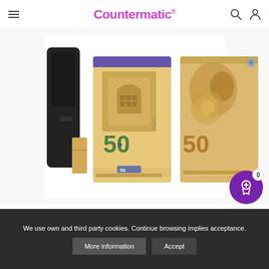Countermatic
[Figure (photo): Product page screenshot showing a banknote counter/detector device alongside front and back images of a 50 Euro banknote. The device is black and compact, shown on the left. The center shows the front of a 50 Euro note and the right shows the reverse side.]
We use own and third party cookies. Continue browsing implies acceptance.
More information
Accept